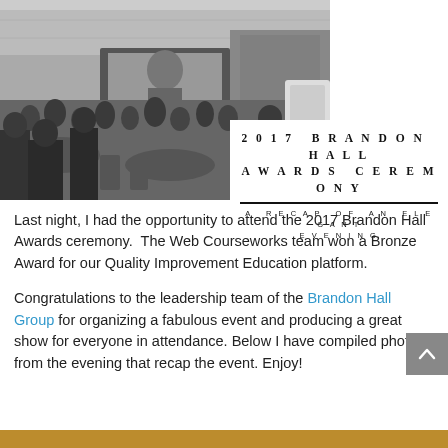[Figure (photo): Black and white photo of a crowded awards ceremony banquet hall with people seated at tables, a large projection screen visible at the back of the room.]
2017 BRANDON HALL AWARDS CEREMONY
A RECAP OF AN ELEGANT EVENING
Last night, I had the opportunity to attend the 2017 Brandon Hall Awards ceremony.  The Web Courseworks team won a Bronze Award for our Quality Improvement Education platform.
Congratulations to the leadership team of the Brandon Hall Group for organizing a fabulous event and producing a great show for everyone in attendance. Below I have compiled photos from the evening that recap the event. Enjoy!
[Figure (photo): Partial view of color photo at bottom of page showing golden/amber tones, likely from the awards ceremony.]